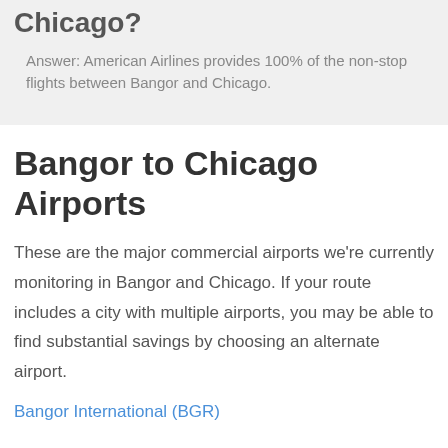Chicago?
Answer: American Airlines provides 100% of the non-stop flights between Bangor and Chicago.
Bangor to Chicago Airports
These are the major commercial airports we're currently monitoring in Bangor and Chicago. If your route includes a city with multiple airports, you may be able to find substantial savings by choosing an alternate airport.
Bangor International (BGR)